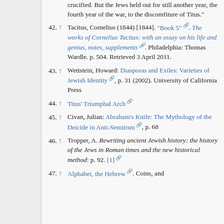crucified. But the Jews held out for still another year, the fourth year of the war, to the discomfiture of Titus."
42. ↑ Tacitus, Cornelius (1844) [1844]. "Book 5". The works of Cornelius Tacitus: with an essay on his life and genius, notes, supplements. Philadelphia: Thomas Wardle. p. 504. Retrieved 3 April 2011.
43. ↑ Wettstein, Howard: Diasporas and Exiles: Varieties of Jewish Identity, p. 31 (2002). University of California Press
44. ↑ Titus' Triumphal Arch
45. ↑ Civan, Julian: Abraham's Knife: The Mythology of the Deicide in Anti-Semitism, p. 68
46. ↑ Tropper, A. Rewriting ancient Jewish history: the history of the Jews in Roman times and the new historical method: p. 92. [1]
47. ↑ Alphabet, the Hebrew. Coins, and